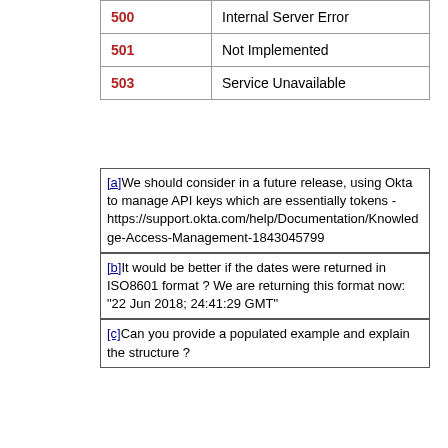| Code | Description |
| --- | --- |
| 500 | Internal Server Error |
| 501 | Not Implemented |
| 503 | Service Unavailable |
[a]We should consider in a future release, using Okta to manage API keys which are essentially tokens - https://support.okta.com/help/Documentation/Knowledge-Access-Management-1843045799
[b]It would be better if the dates were returned in ISO8601 format ? We are returning this format now: "22 Jun 2018; 24:41:29 GMT"
[c]Can you provide a populated example and explain the structure ?